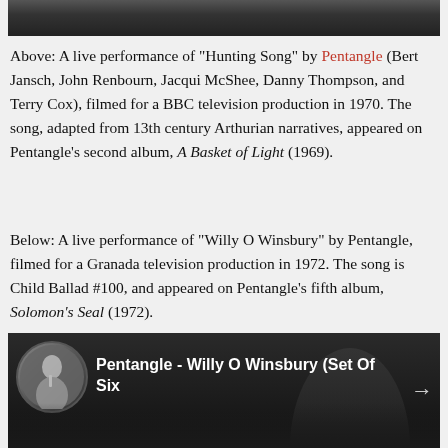[Figure (photo): Top portion of a dark video frame, showing the bottom edge of a video thumbnail (dark/black color)]
Above: A live performance of "Hunting Song" by Pentangle (Bert Jansch, John Renbourn, Jacqui McShee, Danny Thompson, and Terry Cox), filmed for a BBC television production in 1970. The song, adapted from 13th century Arthurian narratives, appeared on Pentangle's second album, A Basket of Light (1969).
Below: A live performance of "Willy O Winsbury" by Pentangle, filmed for a Granada television production in 1972. The song is Child Ballad #100, and appeared on Pentangle's fifth album, Solomon's Seal (1972).
[Figure (screenshot): Video thumbnail for Pentangle - Willy O Winsbury (Set Of Six), showing a circular portrait of a woman singing with a microphone on the left, dark background with a man visible, navigation arrows on left and right sides]